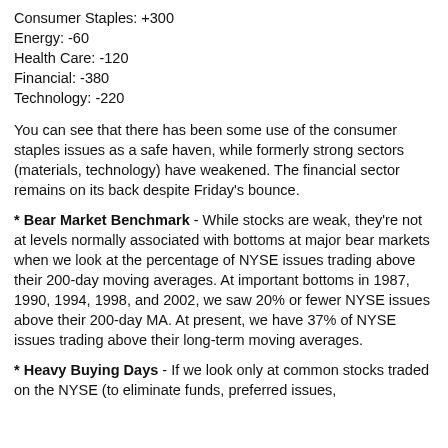Consumer Staples: +300
Energy: -60
Health Care: -120
Financial: -380
Technology: -220
You can see that there has been some use of the consumer staples issues as a safe haven, while formerly strong sectors (materials, technology) have weakened. The financial sector remains on its back despite Friday's bounce.
* Bear Market Benchmark - While stocks are weak, they're not at levels normally associated with bottoms at major bear markets when we look at the percentage of NYSE issues trading above their 200-day moving averages. At important bottoms in 1987, 1990, 1994, 1998, and 2002, we saw 20% or fewer NYSE issues above their 200-day MA. At present, we have 37% of NYSE issues trading above their long-term moving averages.
* Heavy Buying Days - If we look only at common stocks traded on the NYSE (to eliminate funds, preferred issues,